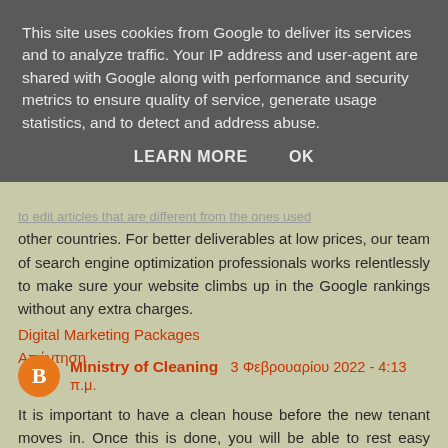This site uses cookies from Google to deliver its services and to analyze traffic. Your IP address and user-agent are shared with Google along with performance and security metrics to ensure quality of service, generate usage statistics, and to detect and address abuse.
LEARN MORE    OK
other countries. For better deliverables at low prices, our team of search engine optimization professionals works relentlessly to make sure your website climbs up in the Google rankings without any extra charges.
Digital Marketing Packages
Απάντηση
Ministry of Cleaning  3 Φεβρουαρίου 2022 - 4:13 π.μ.
It is important to have a clean house before the new tenant moves in. Once this is done, you will be able to rest easy knowing that your investment has been taken care of for you.